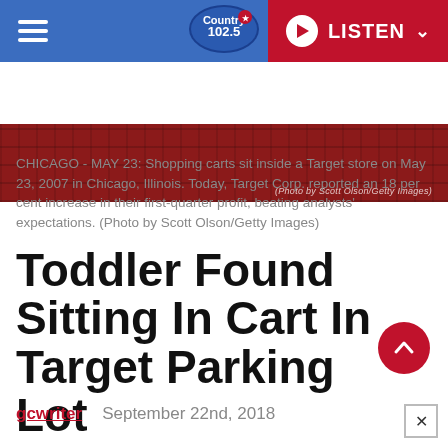Country 102.5 | LISTEN
[Figure (photo): Partial view of a photo showing red shopping carts inside a Target store, with photo credit text overlay]
CHICAGO - MAY 23: Shopping carts sit inside a Target store on May 23, 2007 in Chicago, Illinois. Today, Target Corp. reported an 18 per cent increase in their first-quarter profit, beating analysts' expectations. (Photo by Scott Olson/Getty Images)
Toddler Found Sitting In Cart In Target Parking Lot
gcwriter   September 22nd, 2018